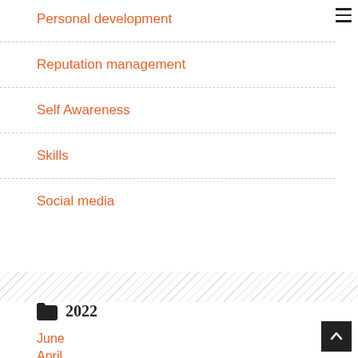Personal development
Reputation management
Self Awareness
Skills
Social media
2022
June
April
March
February
May